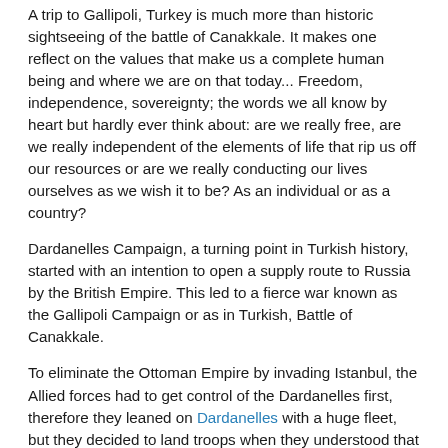A trip to Gallipoli, Turkey is much more than historic sightseeing of the battle of Canakkale. It makes one reflect on the values that make us a complete human being and where we are on that today... Freedom, independence, sovereignty; the words we all know by heart but hardly ever think about: are we really free, are we really independent of the elements of life that rip us off our resources or are we really conducting our lives ourselves as we wish it to be? As an individual or as a country?
Dardanelles Campaign, a turning point in Turkish history, started with an intention to open a supply route to Russia by the British Empire. This led to a fierce war known as the Gallipoli Campaign or as in Turkish, Battle of Canakkale.
To eliminate the Ottoman Empire by invading Istanbul, the Allied forces had to get control of the Dardanelles first, therefore they leaned on Dardanelles with a huge fleet, but they decided to land troops when they understood that the strait was “impassable!”
The Battle of Canakkale was a wake-up for Turkish nation and as for Ataturk, then a young lieutenant colonel in Ottoman Army, he started heading for his inevitable destiny that would make him the incredible commander of the Turkish War of Independence